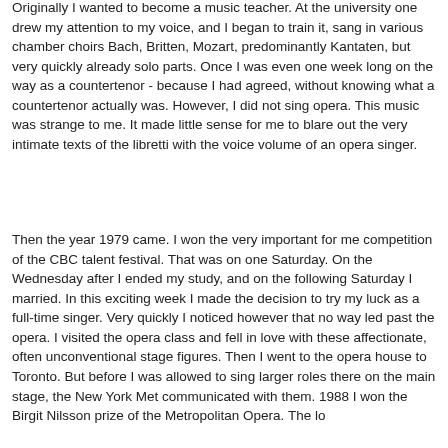Originally I wanted to become a music teacher. At the university one drew my attention to my voice, and I began to train it, sang in various chamber choirs Bach, Britten, Mozart, predominantly Kantaten, but very quickly already solo parts. Once I was even one week long on the way as a countertenor - because I had agreed, without knowing what a countertenor actually was. However, I did not sing opera. This music was strange to me. It made little sense for me to blare out the very intimate texts of the libretti with the voice volume of an opera singer.
Then the year 1979 came. I won the very important for me competition of the CBC talent festival. That was on one Saturday. On the Wednesday after I ended my study, and on the following Saturday I married. In this exciting week I made the decision to try my luck as a full-time singer. Very quickly I noticed however that no way led past the opera. I visited the opera class and fell in love with these affectionate, often unconventional stage figures. Then I went to the opera house to Toronto. But before I was allowed to sing larger roles there on the main stage, the New York Met communicated with them. 1988 I won the Birgit Nilsson prize of the Metropolitan Opera. The long career took a...